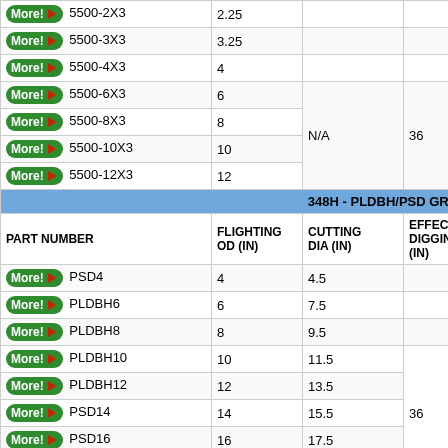| PART NUMBER | FLIGHTING OD (IN) | CUTTING DIA (IN) | EFFECTIVE DIGGING (IN) |
| --- | --- | --- | --- |
| More! 5500-2X3 | 2.25 |  |  |
| More! 5500-3X3 | 3.25 |  |  |
| More! 5500-4X3 | 4 |  |  |
| More! 5500-6X3 | 6 | N/A | 36 |
| More! 5500-8X3 | 8 |  |  |
| More! 5500-10X3 | 10 |  |  |
| More! 5500-12X3 | 12 |  |  |
| 348H - PLDBH/PSD GROUND... |  |  |  |
| PART NUMBER | FLIGHTING OD (IN) | CUTTING DIA (IN) | EFFECTIVE DIGGING (IN) |
| More! PSD4 | 4 | 4.5 |  |
| More! PLDBH6 | 6 | 7.5 |  |
| More! PLDBH8 | 8 | 9.5 |  |
| More! PLDBH10 | 10 | 11.5 | 36 |
| More! PLDBH12 | 12 | 13.5 |  |
| More! PSD14 | 14 | 15.5 |  |
| More! PSD16 | 16 | 17.5 |  |
| More! PSD18P | 18 | 19.5 | 30 |